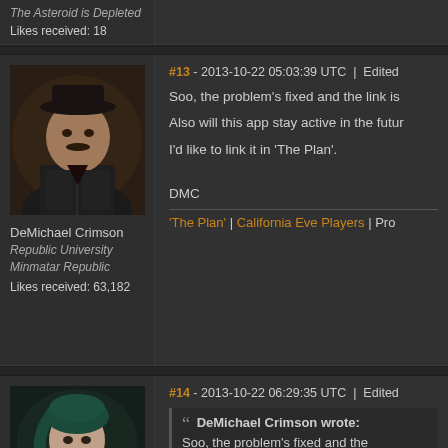The Asteroid is Depleted
Likes received: 18
#13 - 2013-10-22 05:03:39 UTC | Edited
[Figure (photo): Forum avatar of DeMichael Crimson - male character with dark hat and jacket against metallic background]
DeMichael Crimson
Republic University
Minmatar Republic
Likes received: 63,182
Soo, the problem's fixed and the link is
Also will this app stay active in the futu
I'd like to link it in 'The Plan'.
DMC
'The Plan' | California Eve Players | Pro
#14 - 2013-10-22 06:29:35 UTC | Edited
[Figure (photo): Forum avatar of female character with dark teal hair against dark background]
DeMichael Crimson wrote:
Soo, the problem's fixed and the
Also will this app stay active in th